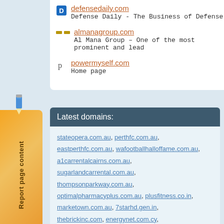defensedaily.com - Defense Daily - The Business of Defense
almanagroup.com - Al Mana Group – One of the most prominent and lead
powermyself.com - Home page
Latest domains:
stateopera.com.au, perthfc.com.au, eastperthfc.com.au, wafootballhalloffame.com.au, a1carrentalcairns.com.au, sugarlandcarrental.com.au, thompsonparkway.com.au, optimalpharmacyplus.com.au, plusfitness.co.in, marketown.com.au, 7starhd.gen.in, thebrickinc.com, energynet.com.cy, addfuel.com.au, gemrentacar.com.au, sctb.com.au, vcvnewcastle.com.au, volvotrucks.id, demopleisterwerken.be,
Report page content